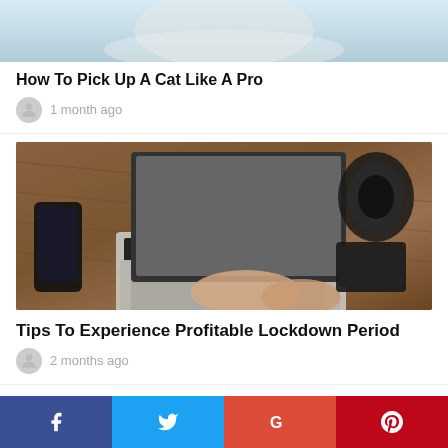[Figure (photo): Partial photo of a white cat at top of page]
How To Pick Up A Cat Like A Pro
1 month ago
[Figure (photo): Overhead photo of person typing on MacBook laptop on wooden desk with phone, camera lens, and wallet]
Tips To Experience Profitable Lockdown Period
2 months ago